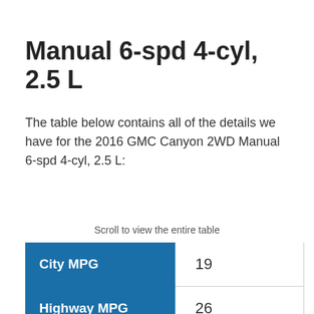Manual 6-spd 4-cyl, 2.5 L
The table below contains all of the details we have for the 2016 GMC Canyon 2WD Manual 6-spd 4-cyl, 2.5 L:
Scroll to view the entire table
|  |  |
| --- | --- |
| City MPG | 19 |
| Highway MPG | 26 |
| Combined MPG | 22 |